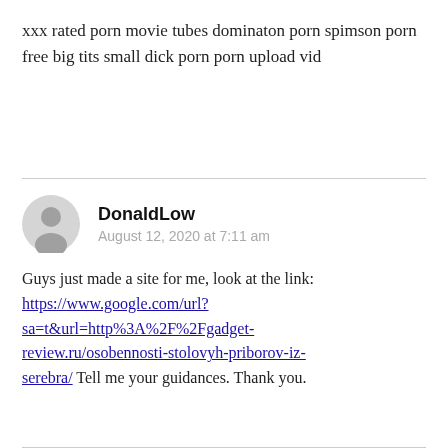xxx rated porn movie tubes dominaton porn spimson porn free big tits small dick porn porn upload vid
DonaldLow
August 12, 2020 at 7:11 am

Guys just made a site for me, look at the link: https://www.google.com/url?sa=t&url=http%3A%2F%2Fgadget-review.ru/osobennosti-stolovyh-priborov-iz-serebra/ Tell me your guidances. Thank you.